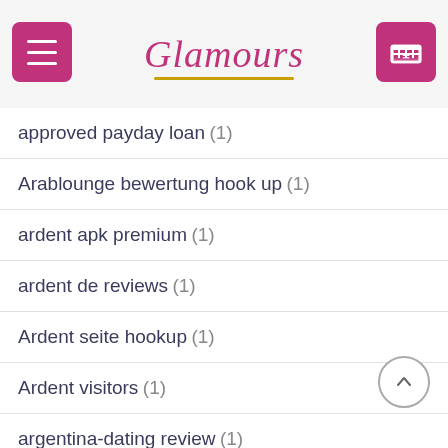Glamours
approved payday loan (1)
Arablounge bewertung hook up (1)
ardent apk premium (1)
ardent de reviews (1)
Ardent seite hookup (1)
Ardent visitors (1)
argentina-dating review (1)
Arizona no credit check installment loan direct lenders (1)
Arizona payday loans online no credit check instant approval (1)
arizona-dating review (1)